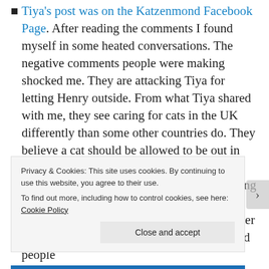Tiya's post was on the Katzenmond Facebook Page. After reading the comments I found myself in some heated conversations. The negative comments people were making shocked me. They are attacking Tiya for letting Henry outside. From what Tiya shared with me, they see caring for cats in the UK differently than some other countries do. They believe a cat should be allowed to be out in nature as they are intended to be. Whether you, I, or those other people who were leaving the comments agree with that isn't the point. The point is that she is grieving the loss of her beloved cat and wants to change laws to hold people
Privacy & Cookies: This site uses cookies. By continuing to use this website, you agree to their use. To find out more, including how to control cookies, see here: Cookie Policy
Close and accept